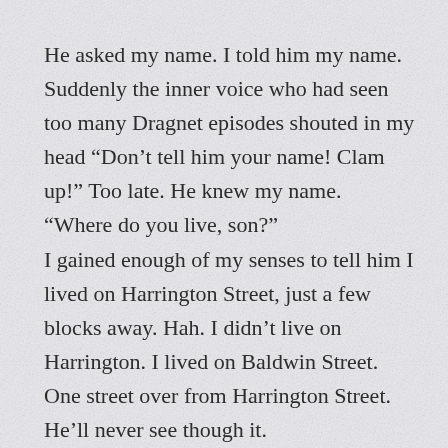He asked my name. I told him my name. Suddenly the inner voice who had seen too many Dragnet episodes shouted in my head "Don't tell him your name! Clam up!" Too late. He knew my name.
“Where do you live, son?”
I gained enough of my senses to tell him I lived on Harrington Street, just a few blocks away. Hah. I didn’t live on Harrington. I lived on Baldwin Street. One street over from Harrington Street. He’ll never see though it.